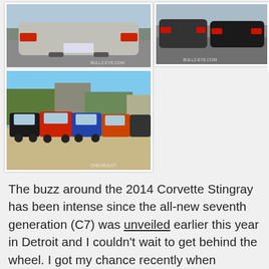[Figure (photo): Rear view of a Corvette Stingray in a parking lot, grey/silver color]
[Figure (photo): Rear view of Corvette Stingrays in a parking lot, dark colors, BULLZ-EYE.COM watermark]
[Figure (photo): Rear view of a red Corvette Stingray]
[Figure (photo): Row of Corvette Stingrays parked in a lot, multiple colors including red and blue]
The buzz around the 2014 Corvette Stingray has been intense since the all-new seventh generation (C7) was unveiled earlier this year in Detroit and I couldn't wait to get behind the wheel. I got my chance recently when Chevrolet invited me out to California to test drive this incredible new version of the iconic sports car. I drove the new Vette on long stretches of remote roads near Monterey and Carmel that offered winding paths, tight turns and inviting straightaways, and then we had the opportunity to push it even further on an autocross coarse